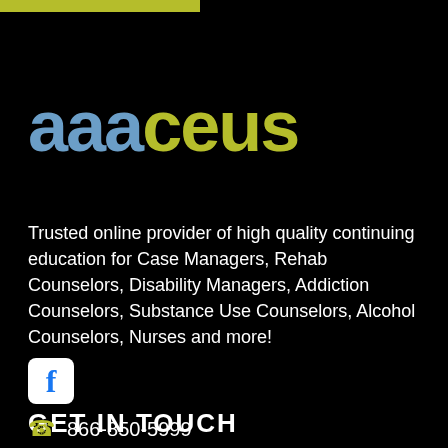[Figure (logo): AAACEUs logo with 'aaa' in blue and 'ceus' in olive/yellow-green]
Trusted online provider of high quality continuing education for Case Managers, Rehab Counselors, Disability Managers, Addiction Counselors, Substance Use Counselors, Alcohol Counselors, Nurses and more!
GET IN TOUCH
866-850-5999